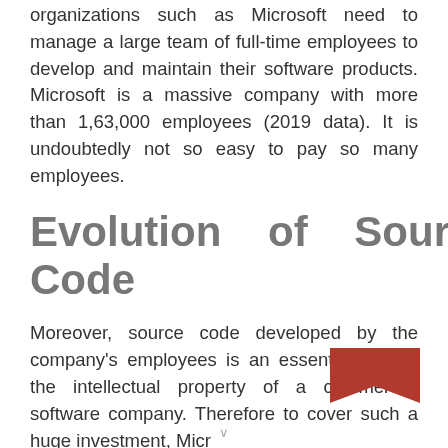organizations such as Microsoft need to manage a large team of full-time employees to develop and maintain their software products. Microsoft is a massive company with more than 1,63,000 employees (2019 data). It is undoubtedly not so easy to pay so many employees.
Evolution of Source Code
Moreover, source code developed by the company's employees is an essential part of the intellectual property of a commercial software company. Therefore to cover such a huge investment, Micr...
[Figure (other): Small red/brown bookmark or dog-ear icon in the bottom-right corner of the page]